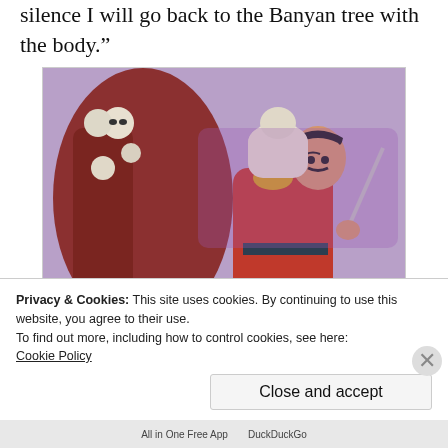silence I will go back to the Banyan tree with the body.”
[Figure (illustration): Comic book illustration of a warrior in red robes carrying a body over his shoulder while holding a sword, surrounded by skulls and dark trees in a graveyard setting.]
Privacy & Cookies: This site uses cookies. By continuing to use this website, you agree to their use.
To find out more, including how to control cookies, see here:
Cookie Policy
Close and accept